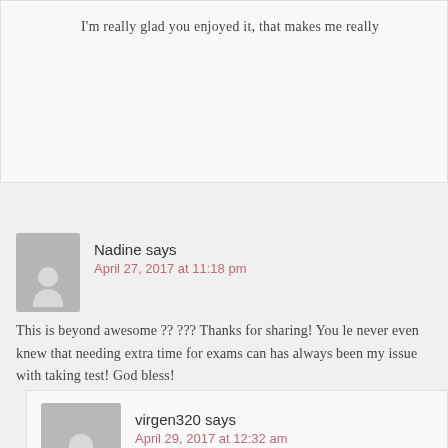I'm really glad you enjoyed it, that makes me really
Nadine says
April 27, 2017 at 11:18 pm
This is beyond awesome ?? ??? Thanks for sharing! You le never even knew that needing extra time for exams can has always been my issue with taking test! God bless!
virgen320 says
April 29, 2017 at 12:32 am